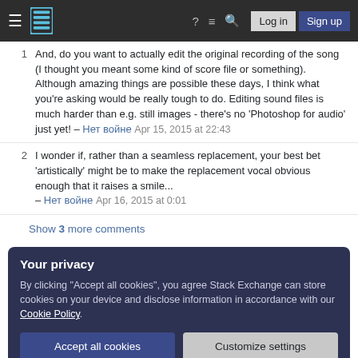Stack Exchange — Log in | Sign up
1 And, do you want to actually edit the original recording of the song (I thought you meant some kind of score file or something). Although amazing things are possible these days, I think what you're asking would be really tough to do. Editing sound files is much harder than e.g. still images - there's no 'Photoshop for audio' just yet! – Нет войне Apr 15, 2015 at 22:43
2 I wonder if, rather than a seamless replacement, your best bet 'artistically' might be to make the replacement vocal obvious enough that it raises a smile... – Нет войне Apr 16, 2015 at 0:01
Show 3 more comments
Your privacy
By clicking "Accept all cookies", you agree Stack Exchange can store cookies on your device and disclose information in accordance with our Cookie Policy.
Accept all cookies | Customize settings
9 It may be possible if you could find an instrumental